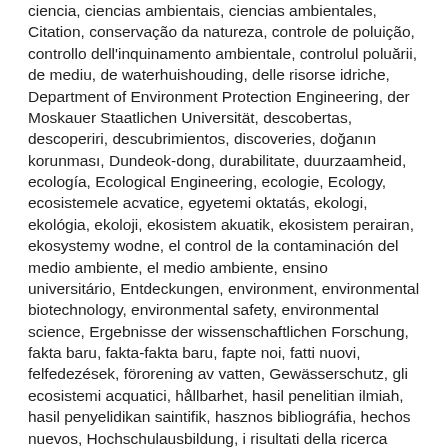ciencia, ciencias ambientais, ciencias ambientales, Citation, conservação da natureza, controle de poluição, controllo dell'inquinamento ambientale, controlul poluării, de mediu, de waterhuishouding, delle risorse idriche, Department of Environment Protection Engineering, der Moskauer Staatlichen Universität, descobertas, descoperiri, descubrimientos, discoveries, doğanın korunması, Dundeok-dong, durabilitate, duurzaamheid, ecología, Ecological Engineering, ecologie, Ecology, ecosistemele acvatice, egyetemi oktatás, ekologi, ekológia, ekoloji, ekosistem akuatik, ekosistem perairan, ekosystemy wodne, el control de la contaminación del medio ambiente, el medio ambiente, ensino universitário, Entdeckungen, environment, environmental biotechnology, environmental safety, environmental science, Ergebnisse der wissenschaftlichen Forschung, fakta baru, fakta-fakta baru, fapte noi, fatti nuovi, felfedezések, förorening av vatten, Gewässerschutz, gli ecosistemi acquatici, hållbarhet, hasil penelitian ilmiah, hasil penyelidikan saintifik, hasznos bibliográfia, hechos nuevos, Hochschulausbildung, i risultati della ricerca scientifica di ricerca, ilmu lingkungan, ilmu pengetahuan